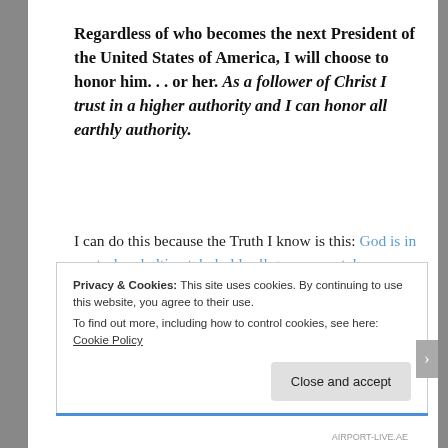Regardless of who becomes the next President of the United States of America, I will choose to honor him... or her. As a follower of Christ I trust in a higher authority and I can honor all earthly authority.
I can do this because the Truth I know is this: God is in control and ultimately holds all governmental authority. Recently, the Lord prompted me to read in the book of Daniel. As I was reading, I began weeping. I have not read my Bible and wept over the Words of Life in a very long
Privacy & Cookies: This site uses cookies. By continuing to use this website, you agree to their use.
To find out more, including how to control cookies, see here: Cookie Policy
Close and accept